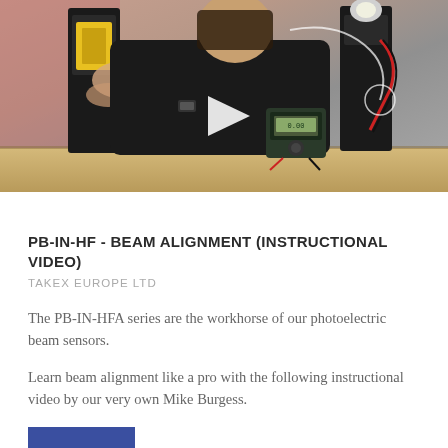[Figure (screenshot): Video thumbnail showing a man in a black shirt working with photoelectric beam sensor equipment on a table. Equipment includes two tall black sensor units and a digital multimeter. A white play button triangle is centered on the image.]
PB-IN-HF - BEAM ALIGNMENT (INSTRUCTIONAL VIDEO)
TAKEX EUROPE LTD
The PB-IN-HFA series are the workhorse of our photoelectric beam sensors.
Learn beam alignment like a pro with the following instructional video by our very own Mike Burgess.
VIEW